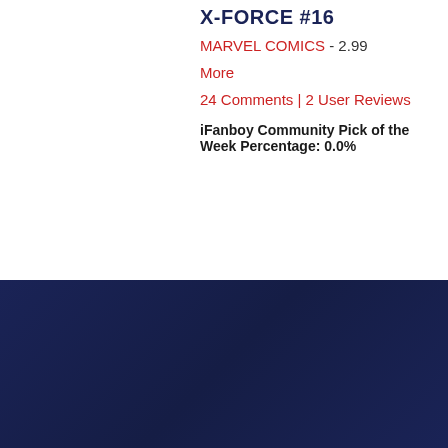X-FORCE #16
MARVEL COMICS - 2.99
More
24 Comments | 2 User Reviews
iFanboy Community Pick of the Week Percentage: 0.0%
[Figure (logo): iFanboy watermark logo in dark red on dark blue background]
HOME
ABOUT US
CONTACT US
SUPPORT IFANBOY